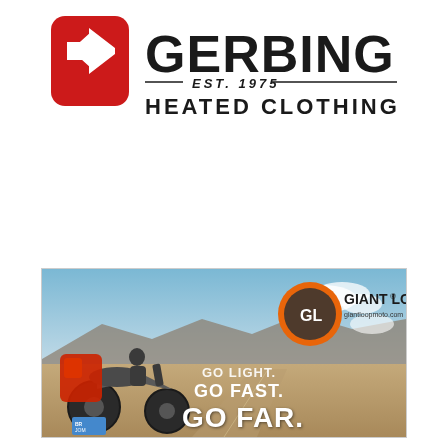[Figure (logo): Gerbing Heated Clothing logo with red diamond shield icon containing a 'G' arrow mark, and bold text reading GERBING with EST. 1975 and HEATED CLOTHING beneath]
[Figure (photo): Giant Loop advertising banner showing a heavily loaded adventure motorcycle on a desert road, with text GO LIGHT. GO FAST. GO FAR. and Giant Loop logo with giantloopmoto.com website]